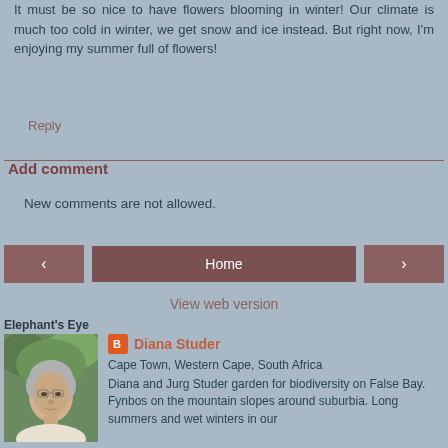It must be so nice to have flowers blooming in winter! Our climate is much too cold in winter, we get snow and ice instead. But right now, I'm enjoying my summer full of flowers!
Reply
Add comment
New comments are not allowed.
‹
Home
›
View web version
Elephant's Eye
[Figure (photo): Profile photo of Diana Studer, a woman with short gray hair and glasses, outdoors with green foliage in background]
Diana Studer
Cape Town, Western Cape, South Africa
Diana and Jurg Studer garden for biodiversity on False Bay. Fynbos on the mountain slopes around suburbia. Long summers and wet winters in our